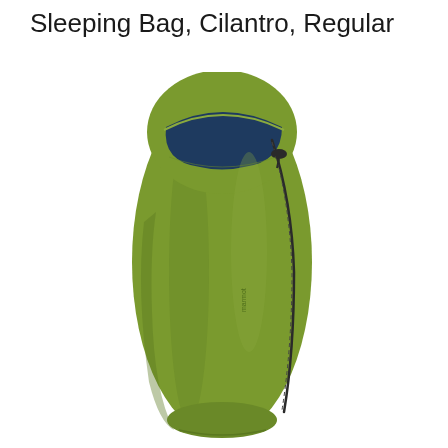Sleeping Bag, Cilantro, Regular
[Figure (photo): A mummy-style sleeping bag in olive/cilantro green color, standing upright and fully zipped. The bag has a rounded hood at the top with a dark navy blue lining visible at the opening. A zipper runs along the right side. A small brand label is visible on the front. The bag tapers toward the foot end.]